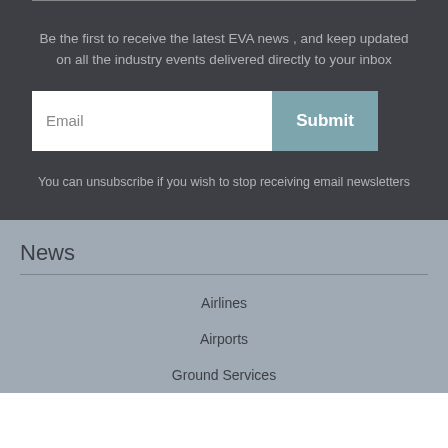Be the first to receive the latest EVA news , and keep updated on all the industry events delivered directly to your inbox
Email
Submit
You can unsubscribe if you wish to stop receiving email newsletters
News
Airlines
Airports
Ground Services